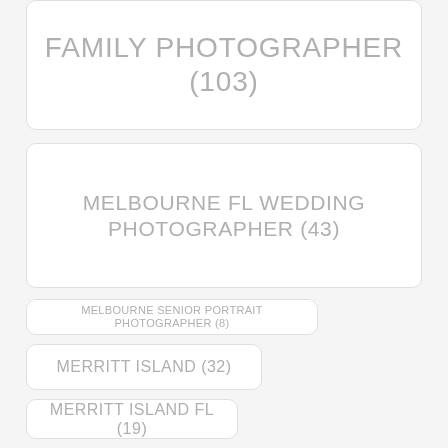FAMILY PHOTOGRAPHER (103)
MELBOURNE FL WEDDING PHOTOGRAPHER (43)
MELBOURNE SENIOR PORTRAIT PHOTOGRAPHER (8)
MERRITT ISLAND (32)
MERRITT ISLAND FL (19)
MODERN PHOTOGRAPHY (140)